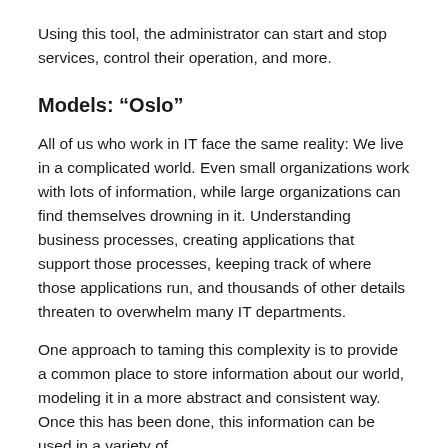Using this tool, the administrator can start and stop services, control their operation, and more.
Models: “Oslo”
All of us who work in IT face the same reality: We live in a complicated world. Even small organizations work with lots of information, while large organizations can find themselves drowning in it. Understanding business processes, creating applications that support those processes, keeping track of where those applications run, and thousands of other details threaten to overwhelm many IT departments.
One approach to taming this complexity is to provide a common place to store information about our world, modeling it in a more abstract and consistent way. Once this has been done, this information can be used in a variety of